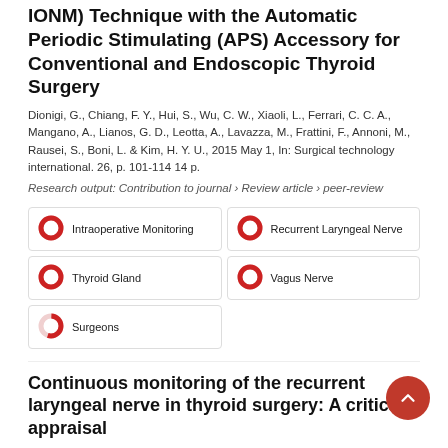IONM) Technique with the Automatic Periodic Stimulating (APS) Accessory for Conventional and Endoscopic Thyroid Surgery
Dionigi, G., Chiang, F. Y., Hui, S., Wu, C. W., Xiaoli, L., Ferrari, C. C. A., Mangano, A., Lianos, G. D., Leotta, A., Lavazza, M., Frattini, F., Annoni, M., Rausei, S., Boni, L. & Kim, H. Y. U., 2015 May 1, In: Surgical technology international. 26, p. 101-114 14 p.
Research output: Contribution to journal › Review article › peer-review
[Figure (infographic): Five keyword badges with donut/pie chart indicators showing percentage fill: Intraoperative Monitoring (100%), Recurrent Laryngeal Nerve (100%), Thyroid Gland (100%), Vagus Nerve (100%), Surgeons (~55%)]
Continuous monitoring of the recurrent laryngeal nerve in thyroid surgery: A critical appraisal
Dionigi, G., Donatini, G., Boni, L., Rausei, S., Rovera, F., M. L., Kim, H. Y., Chiang, F. Y., Wu, C. W., Mangano, A., R., Alesina, P. F. & Dionigi, R., 2013 Dec, In: International Journal of